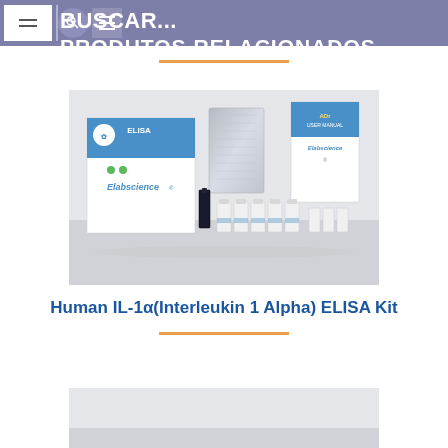Buscar... PRODUTOS RELACIONADOS
[Figure (photo): Elabscience ELISA Kit product photo showing white kit box with blue label, foil bag, user manual, vials and reagent bottles on a grey background]
Human IL-1α(Interleukin 1 Alpha) ELISA Kit
[Figure (photo): Partial view of a second related product image, cropped at bottom of page]